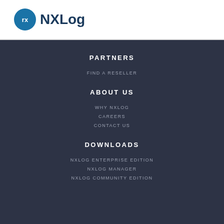[Figure (logo): NXLog logo with circular rx icon and bold NXLog text in dark blue/teal]
PARTNERS
FIND A RESELLER
ABOUT US
WHY NXLOG
CAREERS
CONTACT US
DOWNLOADS
NXLOG ENTERPRISE EDITION
NXLOG MANAGER
NXLOG COMMUNITY EDITION